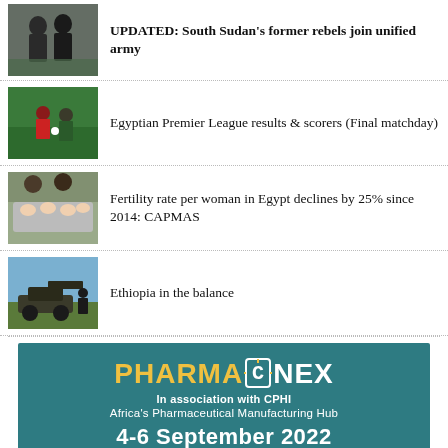UPDATED: South Sudan's former rebels join unified army
Egyptian Premier League results & scorers (Final matchday)
Fertility rate per woman in Egypt declines by 25% since 2014: CAPMAS
Ethiopia in the balance
[Figure (illustration): Advertisement banner for PharmaConex in association with CPHI, Africa's Pharmaceutical Manufacturing Hub, 4-6 September 2022]